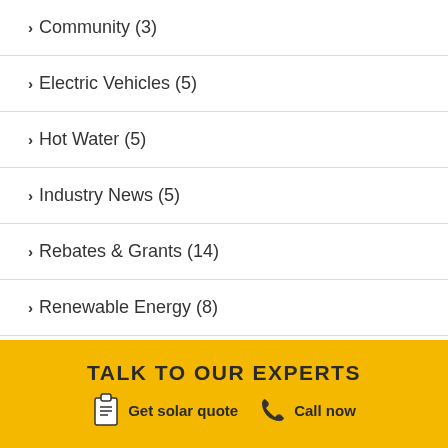Community (3)
Electric Vehicles (5)
Hot Water (5)
Industry News (5)
Rebates & Grants (14)
Renewable Energy (8)
Solar Guide (26)
Solar Installation (9)
Solar Inverters (7)
TALK TO OUR EXPERTS
Get solar quote    Call now